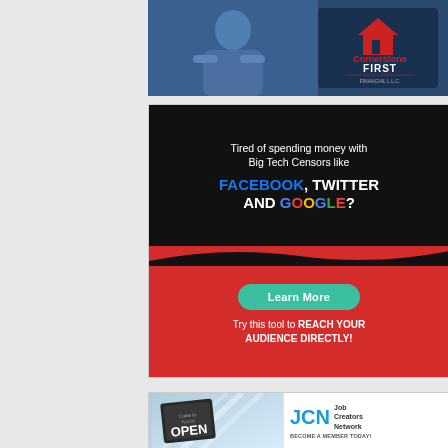[Figure (advertisement): Cornerstone First Financial advertisement showing a man in blue shirt and company logo with house icon]
[Figure (advertisement): Advertisement: 'Tired of spending money with Big Tech Censors like FACEBOOK, TWITTER AND GOOGLE? Learn More. Try this tool to REACH YOUR AUDIENCE DIRECTLY!']
[Figure (advertisement): Job Creators Network advertisement with 'Come in We're OPEN' sign and JCN logo. Text: 'Job Creators Network - BECOME A MEMBER TODAY!']